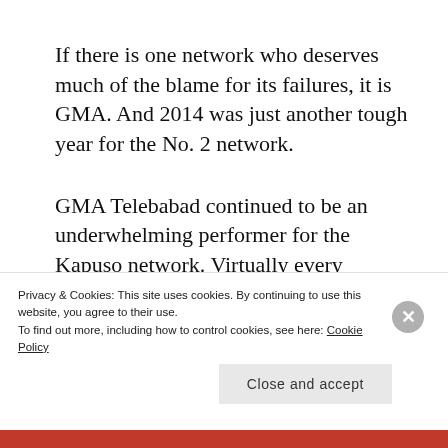If there is one network who deserves much of the blame for its failures, it is GMA. And 2014 was just another tough year for the No. 2 network.
GMA Telebabad continued to be an underwhelming performer for the Kapuso network. Virtually every teleserye GMA threw at its disposal failed to make an
Privacy & Cookies: This site uses cookies. By continuing to use this website, you agree to their use.
To find out more, including how to control cookies, see here: Cookie Policy